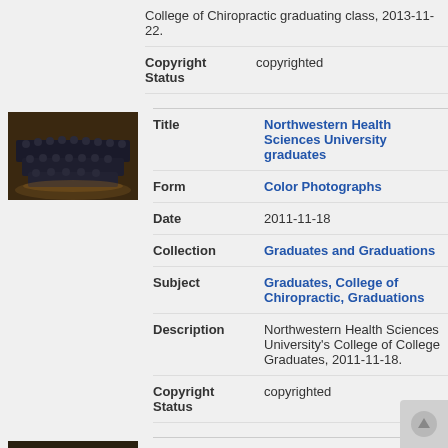College of Chiropractic graduating class, 2013-11-22.
Copyright Status: copyrighted
[Figure (photo): Group photo of Northwestern Health Sciences University graduates in graduation gowns, record 2 thumbnail]
Title: Northwestern Health Sciences University graduates
Form: Color Photographs
Date: 2011-11-18
Collection: Graduates and Graduations
Subject: Graduates, College of Chiropractic, Graduations
Description: Northwestern Health Sciences University's College of College Graduates, 2011-11-18.
Copyright Status: copyrighted
[Figure (photo): Group photo of Northwestern Health Sciences University graduates in graduation gowns, record 3 thumbnail]
Title: Northwestern Health Sciences University graduates